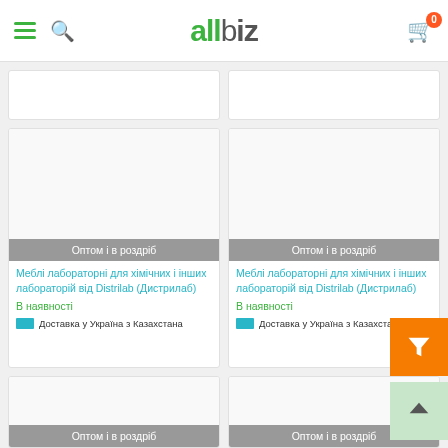allbiz — mobile website header with hamburger menu, search icon, logo, and cart icon with badge 0
[Figure (screenshot): Top partial product card strip — two partially visible white product cards]
[Figure (screenshot): Product card left: badge 'Оптом і в роздріб', title 'Меблі лабораторні для хімічних і інших лабораторій від Distrilab (Дистрилаб)', availability 'В наявності', delivery 'Доставка у Україна з Казахстана']
[Figure (screenshot): Product card right: badge 'Оптом і в роздріб', title 'Меблі лабораторні для хімічних і інших лабораторій від Distrilab (Дистрилаб)', availability 'В наявності', delivery 'Доставка у Україна з Казахстана']
[Figure (screenshot): Bottom partial product cards — two partially visible cards showing only top image portion and partial badge 'Оптом і в роздріб']
[Figure (other): Orange filter funnel button overlay at bottom right]
[Figure (other): Light green scroll-to-top arrow button at bottom right below filter button]